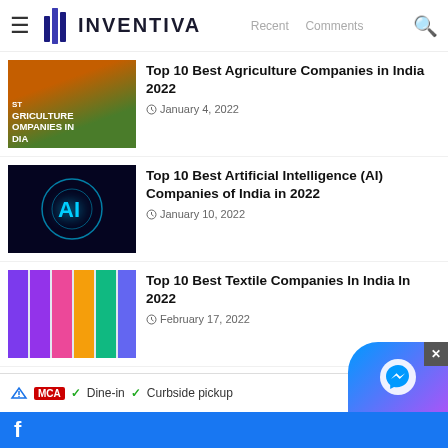INVENTIVA
Top 10 Best Agriculture Companies in India 2022 — January 4, 2022
Top 10 Best Artificial Intelligence (AI) Companies of India in 2022 — January 10, 2022
Top 10 Best Textile Companies In India In 2022 — February 17, 2022
Top 10 Best Casino Websites in India 2022